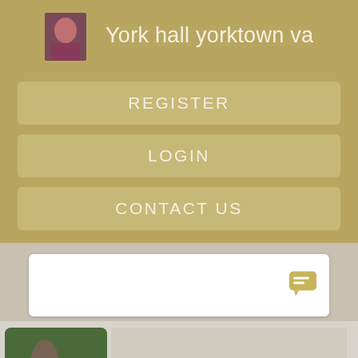York hall yorktown va
REGISTER
LOGIN
CONTACT US
[Figure (screenshot): White card panel with a gold chat/list icon on the right side]
[Figure (screenshot): Grid of thumbnail images with 'Register NOW for Instant Access' overlays on dark scene images]